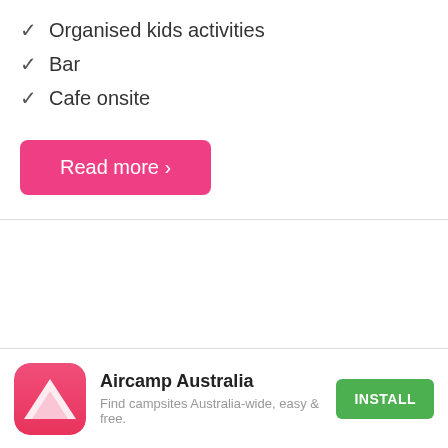✓ Organised kids activities
✓ Bar
✓ Cafe onsite
[Figure (other): Pink rounded rectangle button labeled 'Read more ›']
[Figure (infographic): App install banner for Aircamp Australia with app icon (pink rounded square with white triangle), app name 'Aircamp Australia', description 'Find campsites Australia-wide, easy & free.', and green INSTALL button]